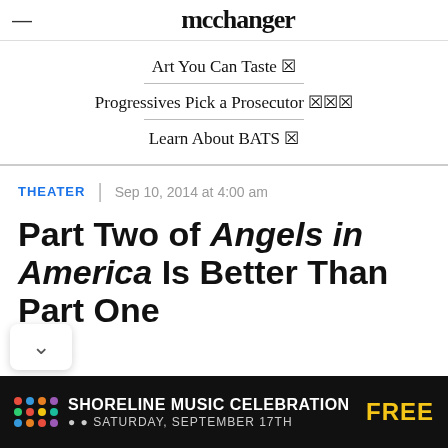mcchanger
Art You Can Taste ☒
Progressives Pick a Prosecutor ☒☒☒
Learn About BATS ☒
THEATER | Sep 10, 2014 at 4:00 am
Part Two of Angels in America Is Better Than Part One
[Figure (screenshot): Advertisement banner: SHORELINE MUSIC CELEBRATION FREE SATURDAY, SEPTEMBER 17TH with colorful dots on black background]